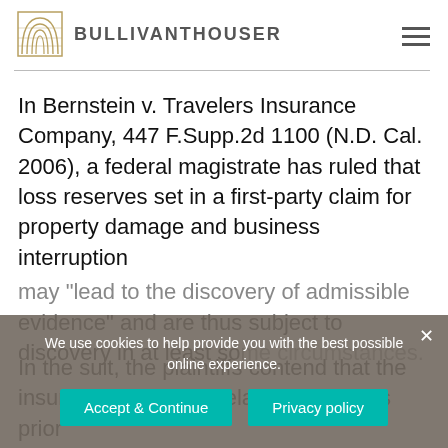BULLIVANTHOUSER
In Bernstein v. Travelers Insurance Company, 447 F.Supp.2d 1100 (N.D. Cal. 2006), a federal magistrate has ruled that loss reserves set in a first-party claim for property damage and business interruption may "lead to the discovery of admissible evidence" and are thus subject to discovery in at least some circumstances.
We use cookies to help provide you with the best possible online experience.
In the suit, the plaintiffs contend that the insurer unjustifiably delayed payments prior